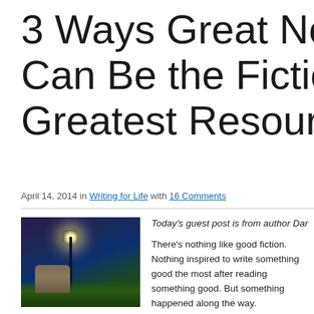3 Ways Great Nonfiction Can Be the Fiction Writer's Greatest Resource
April 14, 2014 in Writing for Life with 16 Comments
[Figure (photo): A person sitting in an armchair outdoors at night under a glowing street lamp, surrounded by foliage with a dramatic dark blue sky.]
Today's guest post is from author Dar…
There's nothing like good fiction. Nothing inspired to write something good the most after reading something good. But something happened along the way.